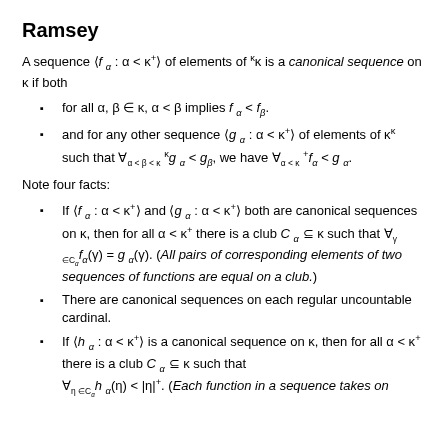Ramsey
A sequence ⟨f_α : α < κ⁺⟩ of elements of ^κκ is a canonical sequence on κ if both
for all α, β ∈ κ, α < β implies f_α < f_β.
and for any other sequence ⟨g_α : α < κ⁺⟩ of elements of κ^κ such that ∀_{α < β < κ} ^κg_α < g_β, we have ∀_{α < κ} ^+f_α < g_α.
Note four facts:
If ⟨f_α : α < κ⁺⟩ and ⟨g_α : α < κ⁺⟩ both are canonical sequences on κ, then for all α < κ⁺ there is a club C_α ⊆ κ such that ∀_{γ ∈ C_α} f_α(γ) = g_α(γ). (All pairs of corresponding elements of two sequences of functions are equal on a club.)
There are canonical sequences on each regular uncountable cardinal.
If ⟨h_α : α < κ⁺⟩ is a canonical sequence on κ, then for all α < κ⁺ there is a club C_α ⊆ κ such that ∀_{η ∈ C_α} h_α(η) < |η|⁺. (Each function in a sequence takes on ...